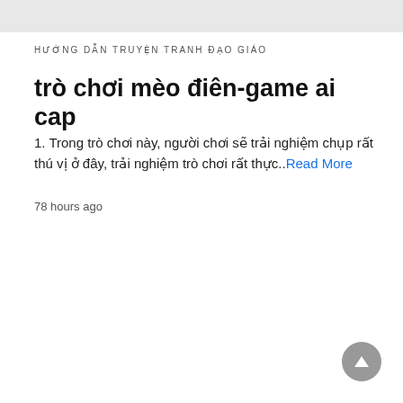HƯỚNG DẪN TRUYỆN TRANH ĐẠO GIÁO
trò chơi mèo điên-game ai cap
1. Trong trò chơi này, người chơi sẽ trải nghiệm chụp rất thú vị ở đây, trải nghiệm trò chơi rất thực..Read More
78 hours ago
[Figure (other): Gray circular scroll-to-top button with upward triangle arrow icon]